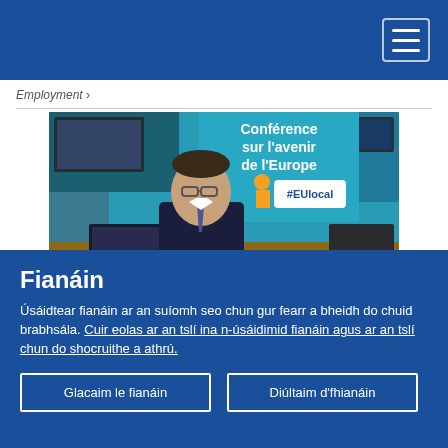Employment
[Figure (photo): A man in a suit speaking at a conference, with a banner behind him reading 'Conférence sur l'avenir de l'Europe' and a sign showing '#EUlocal'. The event appears to be an EU institutional meeting. The website footer shows 'opa.eu'.]
Fianáin
Úsáidtear fianáin ar an suíomh seo chun gur fearr a bheidh do chuid brabhsála. Cuir eolas ar an tslí ina n-úsáidimid fianáin agus ar an tslí chun do shocruithe a athrú.
Glacaim le fianáin
Diúltaim d'fhianáin